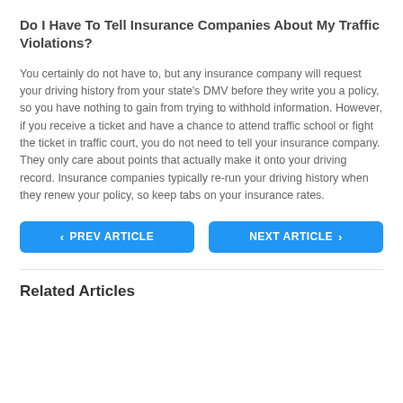Do I Have To Tell Insurance Companies About My Traffic Violations?
You certainly do not have to, but any insurance company will request your driving history from your state's DMV before they write you a policy, so you have nothing to gain from trying to withhold information. However, if you receive a ticket and have a chance to attend traffic school or fight the ticket in traffic court, you do not need to tell your insurance company. They only care about points that actually make it onto your driving record. Insurance companies typically re-run your driving history when they renew your policy, so keep tabs on your insurance rates.
PREV ARTICLE
NEXT ARTICLE
Related Articles